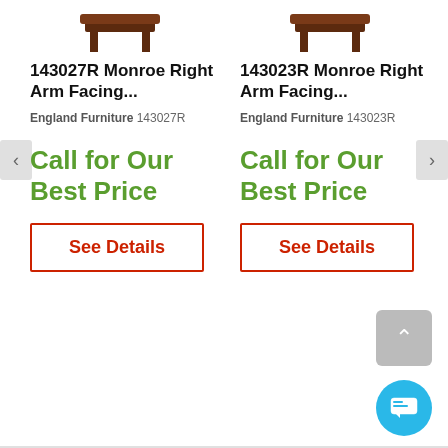[Figure (photo): Partial top view of a dark brown wooden furniture piece (left product)]
[Figure (photo): Partial top view of a dark brown wooden furniture piece (right product)]
143027R Monroe Right Arm Facing...
England Furniture 143027R
Call for Our Best Price
See Details
143023R Monroe Right Arm Facing...
England Furniture 143023R
Call for Our Best Price
See Details